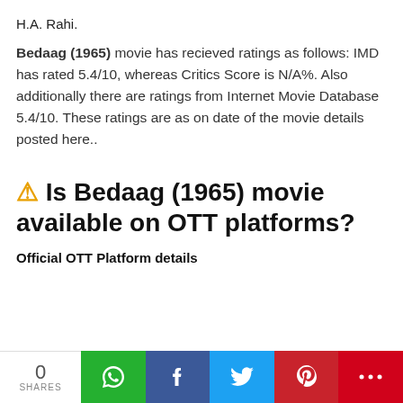H.A. Rahi.
Bedaag (1965) movie has recieved ratings as follows: IMD has rated 5.4/10, whereas Critics Score is N/A%. Also additionally there are ratings from Internet Movie Database 5.4/10. These ratings are as on date of the movie details posted here..
⚠ Is Bedaag (1965) movie available on OTT platforms?
Official OTT Platform details
0 SHARES | WhatsApp | Facebook | Twitter | Pinterest | More